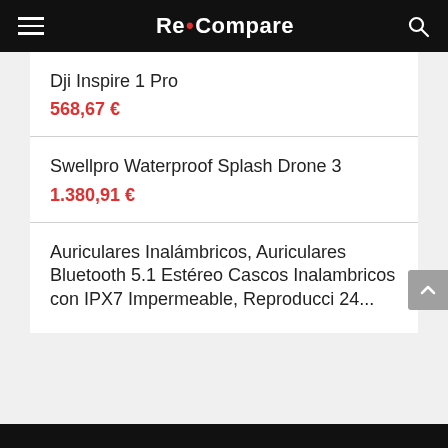Re•Compare
Dji Inspire 1 Pro
568,67 €
Swellpro Waterproof Splash Drone 3
1.380,91 €
Auriculares Inalámbricos, Auriculares Bluetooth 5.1 Estéreo Cascos Inalambricos con IPX7 Impermeable, Reproducci 24...